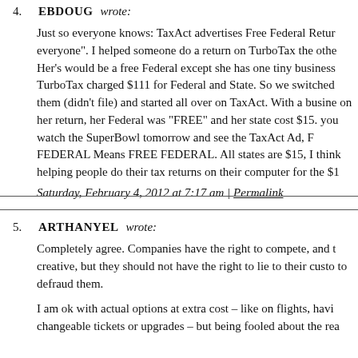4. EBDOUG wrote:
Just so everyone knows: TaxAct advertises Free Federal Return everyone". I helped someone do a return on TurboTax the othe Her's would be a free Federal except she has one tiny business TurboTax charged $111 for Federal and State. So we switched them (didn't file) and started all over on TaxAct. With a busine on her return, her Federal was "FREE" and her state cost $15. you watch the SuperBowl tomorrow and see the TaxAct Ad, F FEDERAL Means FREE FEDERAL. All states are $15, I thin helping people do their tax returns on their computer for the $1
Saturday, February 4, 2012 at 7:17 am | Permalink
5. ARTHANYEL wrote:
Completely agree. Companies have the right to compete, and t creative, but they should not have the right to lie to their custo to defraud them.
I am ok with actual options at extra cost – like on flights, havi changeable tickets or upgrades – but being fooled about the rea